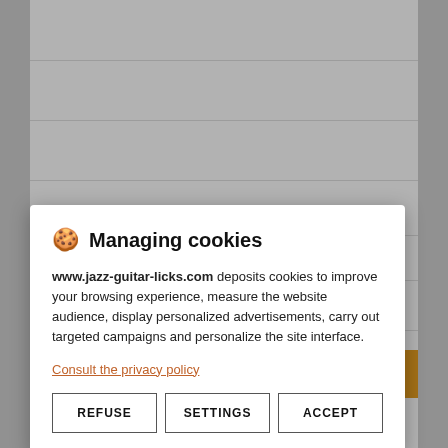[Figure (screenshot): Background of a website (jazz-guitar-licks.com) partially visible behind a cookie consent modal. The background shows white content area with gray strips on left and right, horizontal rule lines, and a partial article heading with orange accent bar. At the bottom is an orange italic heading 'Warm-up Exercise For Beginner Guitarists'.]
🍪 Managing cookies
www.jazz-guitar-licks.com deposits cookies to improve your browsing experience, measure the website audience, display personalized advertisements, carry out targeted campaigns and personalize the site interface.
Consult the privacy policy
REFUSE   SETTINGS   ACCEPT
Warm-up Exercise For Beginner Guitarists